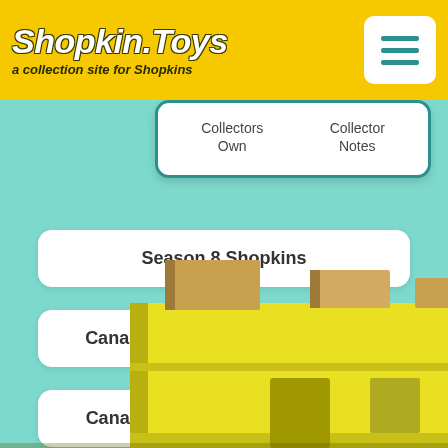Shopkin.Toys — a collection site for Shopkins
Collectors Own | Collector Notes
Season 8 Shopkins
Canadian Cuties Team Shopkins
Canadian Cuties Team Checklist
[Figure (illustration): Yellow building/store illustration at bottom of page against teal background]